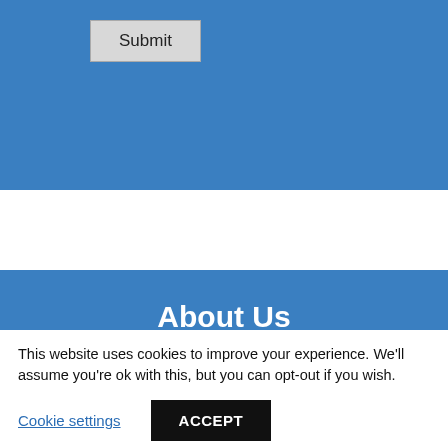[Figure (screenshot): Blue form section with a Submit button rendered in a light gray rectangle]
About Us
As an Auto Injury Clinic, we help people of all ages overcome
This website uses cookies to improve your experience. We'll assume you're ok with this, but you can opt-out if you wish.
Cookie settings
ACCEPT